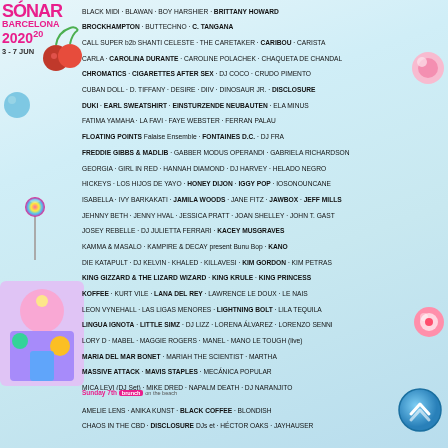Sónar Barcelona 2020 · 3-7 Jun
BLACK MIDI · BLAWAN · BOY HARSHIER · BRITTANY HOWARD · BROCKHAMPTON · BUTTECHNO · C. TANGANA · CALL SUPER b2b SHANTI CELESTE · THE CARETAKER · CARIBOU · CARISTA · CARLA · CAROLINA DURANTE · CAROLINE POLACHEK · CHAQUETA DE CHANDAL · CHROMATICS · CIGARETTES AFTER SEX · DJ COCO · CRUDO PIMENTO · CUBAN DOLL · D. TIFFANY · DESIRE · DIIV · DINOSAUR JR. · DISCLOSURE · DUKI · EARL SWEATSHIRT · EINSTURZENDE NEUBAUTEN · ELA MINUS · FATIMA YAMAHA · LA FAVI · FAYE WEBSTER · FERRAN PALAU · FLOATING POINTS Falaise Ensemble · FONTAINES D.C. · DJ FRA · FREDDIE GIBBS & MADLIB · GABBER MODUS OPERANDI · GABRIELA RICHARDSON · GEORGIA · GIRL IN RED · HANNAH DIAMOND · DJ HARVEY · HELADO NEGRO · HICKEYS · LOS HIJOS DE YAYO · HONEY DIJON · IGGY POP · IOSONOUNCANE · ISABELLA · IVY BARKAKATI · JAMILA WOODS · JANE FITZ · JAWBOX · JEFF MILLS · JEHNNY BETH · JENNY HVAL · JESSICA PRATT · JOAN SHELLEY · JOHN T. GAST · JOSEY REBELLE · DJ JULIETTA FERRARI · KACEY MUSGRAVES · KAMMA & MASALO · KAMPIRE & DECAY present Bunu Bop · KANO · DIE KATAPULT · DJ KELVIN · KHALED · KILLAVESI · KIM GORDON · KIM PETRAS · KING GIZZARD & THE LIZARD WIZARD · KING KRULE · KING PRINCESS · KOFFEE · KURT VILE · LANA DEL REY · LAWRENCE LE DOUX · LE NAIS · LEON VYNEHALL · LAS LIGAS MENORES · LIGHTNING BOLT · LILA TEQUILA · LINGUA IGNOTA · LITTLE SIMZ · DJ LIZZ · LORENA ÁLVAREZ · LORENZO SENNI · LORY D · MABEL · MAGGIE ROGERS · MANEL · MANO LE TOUGH (live) · MARIA DEL MAR BONET · MARIAH THE SCIENTIST · MARTHA · MASSIVE ATTACK · MAVIS STAPLES · MECÁNICA POPULAR · MICA LEVI (DJ Set) · MIKE DRED · NAPALM DEATH · DJ NARANJITO · THE NATIONAL · ÑEJO · NORSICAA · NÚRIA GRAHAM · OKLOU · OM · OSCAR MULERO · OTOBOKE BEAVER · PABLLO VITTAR · PALOMA MAMI · 박혜진 PARK HYE JIN · PAUL HEATON & JACQUI ABBOTT · PAVEMENT · PELADA · PENELOPE ISLES · PILE · DJ PLAYERO · PNL · RAPSODY · RICHARD DAWSON · RINA SAWAYAMA · ROMBO · SAMPA THE GREAT · SANGRE NUEVA · LES SAVY FAV · DJ SHADOW · SHAME · SHELLAC · SHERELLE · SHYGIRL · SIDE CHICK · SONIDO LA CHANGA · SOTO ASA · SPECIAL REQUEST Live & Dj · SQUAREPUSHER · SQUID · STELLAR OM SOURCE · THE STROKES · SUDAN ARCHIVES · TIM BURGESS · TRAPANI · TROPICAL FUCK STORM · TYLER, THE CREATOR · UNIFORMS · VAGINA DENTATA ORGAN · VIOLET · VTSS · WEYES BLOOD · DJ W... · YO LA TENGO · YOUNG DOLPH · YOUNG MARCO · YOUNG THUG · YUNG BEEF & PABLO CHILL-E · ZAI & la TRANSMEGACOBLA · ZO...
Sunday 7th brunch on the beach
AMELIE LENS · ANIKA KUNST · BLACK COFFEE · BLONDISH · CHAOS IN THE CBD · DISCLOSURE DJs et · HÉCTOR OAKS · JAYHAUSER